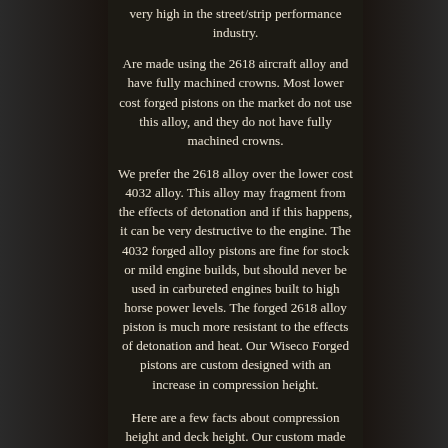very high in the street/strip performance industry.
Are made using the 2618 aircraft alloy and have fully machined crowns. Most lower cost forged pistons on the market do not use this alloy, and they do not have fully machined crowns.
We prefer the 2618 alloy over the lower cost 4032 alloy. This alloy may fragment from the effects of detonation and if this happens, it can be very destructive to the engine. The 4032 forged alloy pistons are fine for stock or mild engine builds, but should never be used in carbureted engines built to high horse power levels. The forged 2618 alloy piston is much more resistant to the effects of detonation and heat. Our Wiseco Forged pistons are custom designed with an increase in compression height.
Here are a few facts about compression height and deck height. Our custom made pistons have a compression height that is. 010 taller on bbc pistons, and. 015 taller on sbc pistons, as compared to most